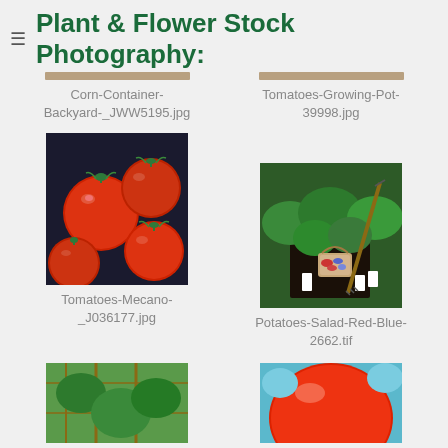Plant & Flower Stock Photography:
Corn-Container-Backyard-_JWW5195.jpg
Tomatoes-Growing-Pot-39998.jpg
[Figure (photo): Red tomatoes (Mecano variety) grouped together on dark background]
Tomatoes-Mecano-_J036177.jpg
[Figure (photo): Garden bed with green plants, a basket of red and blue potatoes, and a rake tool]
Potatoes-Salad-Red-Blue-2662.tif
[Figure (photo): Garden scene with tall plants and trellis (bottom left, partially visible)]
[Figure (photo): Close-up of a large red tomato (bottom right, partially visible)]